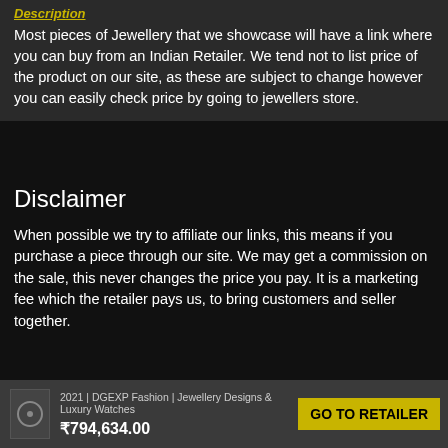Description
Most pieces of Jewellery that we showcase will have a link where you can buy from an Indian Retailer. We tend not to list price of the product on our site, as these are subject to change however you can easily check price by going to jewellers store.
Disclaimer
When possible we try to affiliate our links, this means if you purchase a piece through our site. We may get a commission on the sale, this never changes the price you pay. It is a marketing fee which the retailer pays us, to bring customers and seller together.
2021 | DGEXP Fashion | Jewellery Designs & Luxury Watches  ₹794,634.00  GO TO RETAILER